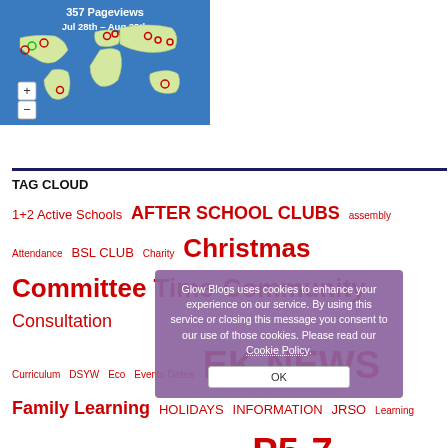[Figure (map): World map showing 357 pageviews from Jul 28th to Aug 28th, with location dots marking visitor origins across North America, Europe, Asia, Australia, and South America. Includes zoom +/- controls.]
TAG CLOUD
1+2 Active Schools AFTER SCHOOL CLUBS assembly Attendance BSL CLUB Charity Christmas Committee Time Community Consultation Curriculum DSYW Eco Events Dates EK NEWS Family Learning HOLIDAYS INFORMATION JRSO Learning Literacy Local Events Masterclasses P1-4 P5-7 Parent Council Parents PUPIL COUNCIL Pupil Groups Pupil Profile School South Ayrshire Staff STEM CLUB Visitor Wet Day World Book Day
Glow Blogs uses cookies to enhance your experience on our service. By using this service or closing this message you consent to our use of those cookies. Please read our Cookie Policy. OK